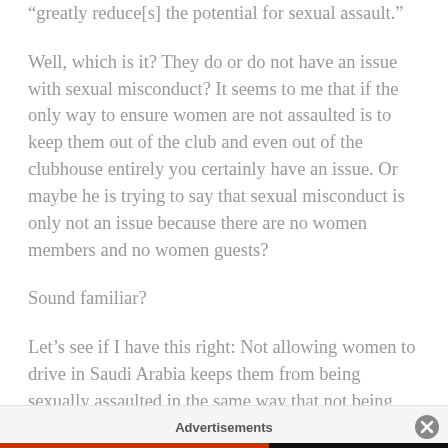“greatly reduce[s] the potential for sexual assault.”
Well, which is it? They do or do not have an issue with sexual misconduct? It seems to me that if the only way to ensure women are not assaulted is to keep them out of the club and even out of the clubhouse entirely you certainly have an issue. Or maybe he is trying to say that sexual misconduct is only not an issue because there are no women members and no women guests?
Sound familiar?
Let’s see if I have this right: Not allowing women to drive in Saudi Arabia keeps them from being sexually assaulted in the same way that not being admitted
Advertisements